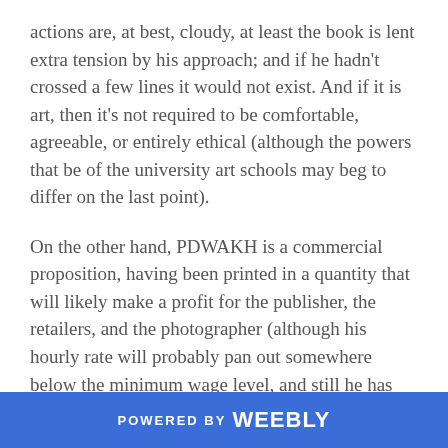actions are, at best, cloudy, at least the book is lent extra tension by his approach; and if he hadn't crossed a few lines it would not exist. And if it is art, then it's not required to be comfortable, agreeable, or entirely ethical (although the powers that be of the university art schools may beg to differ on the last point).
On the other hand, PDWAKH is a commercial proposition, having been printed in a quantity that will likely make a profit for the publisher, the retailers, and the photographer (although his hourly rate will probably pan out somewhere below the minimum wage level, and still he has generously pledged a quarter of his royalty payments to NZ Red Cross).
But, in the end, I'm pleased to own a copy of this book. Perhaps PDWAKH did need to be made. I would love to
POWERED BY weebly